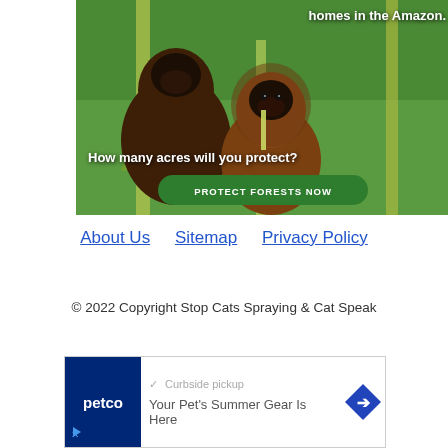[Figure (photo): Advertisement image showing two brown furry monkeys (titi monkeys) on bamboo branches in a green jungle setting. Text overlay reads 'homes in the Amazon.' at the top and 'How many acres will you protect?' in the middle-lower area. A green rounded button reads 'PROTECT FORESTS NOW'.]
About Us    Sitemap    Privacy Policy
© 2022 Copyright Stop Cats Spraying & Cat Speak
[Figure (screenshot): Petco advertisement banner showing Petco logo, a checkmark with 'Curbside pickup' text in gray, a blue diamond navigation arrow icon on the right, and text 'Your Pet's Summer Gear Is Here' below.]